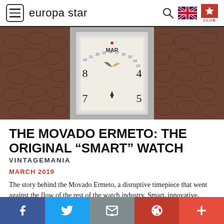europa star
[Figure (photo): Close-up photo of a vintage Movado Ermeto watch with a white rectangular dial showing numerals and calendar, set in a silver case with dark brown crocodile leather straps.]
THE MOVADO ERMETO: THE ORIGINAL “SMART” WATCH
VINTAGEMANIA
MARCH 2019
The story behind the Movado Ermeto, a disruptive timepiece that went against the flow of the rest of the watch industry. Smart, innovative, elegant yet (...)